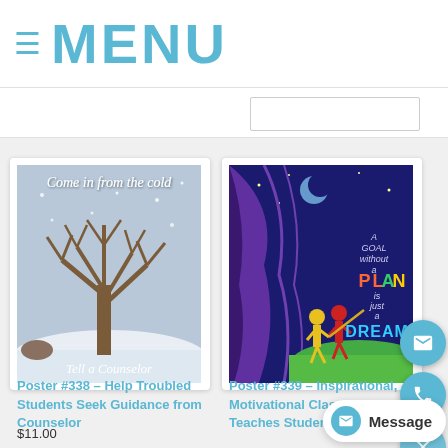≡ MENU
[Figure (illustration): Poster #338 – winter scene with bare tree in snow, text 'Come in from the cold' and 'Tell a Counselor']
Poster #338 – Help Troubled Students Seek Guidance from Counselor
$11.00
[Figure (illustration): Poster #339 – motivational classroom poster with curtain/stage scene, text 'A goal without a PLAN is just a DREAM']
Poster #339 – Inspirational, Motivational Classroom Poster Teaches Students To